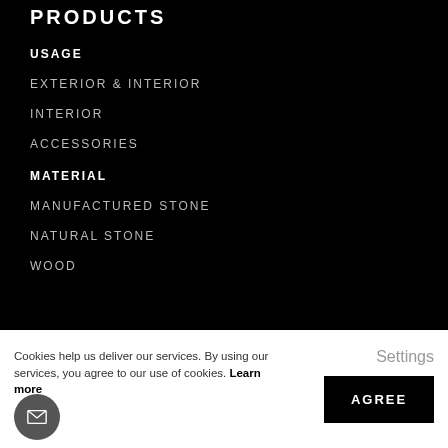PRODUCTS
USAGE
EXTERIOR & INTERIOR
INTERIOR
ACCESSORIES
MATERIAL
MANUFACTURED STONE
NATURAL STONE
WOOD
Cookies help us deliver our services. By using our services, you agree to our use of cookies. Learn more
Settings
AGREE